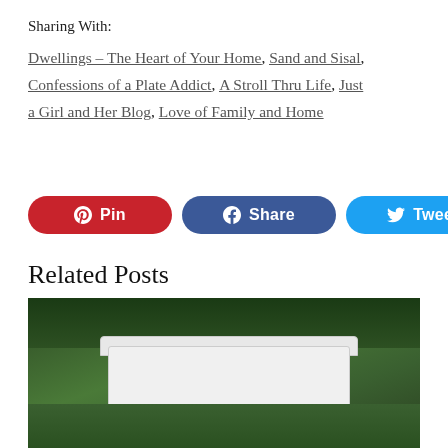Sharing With:
Dwellings – The Heart of Your Home, Sand and Sisal, Confessions of a Plate Addict, A Stroll Thru Life, Just a Girl and Her Blog, Love of Family and Home
[Figure (infographic): Social sharing buttons: red Pinterest Pin button, blue Facebook Share button, light blue Twitter Tweet button]
Related Posts
[Figure (photo): Photo of a white painted end table with 'Herboristerie' text transfer on top, set against green leafy bushes background with grass on ground]